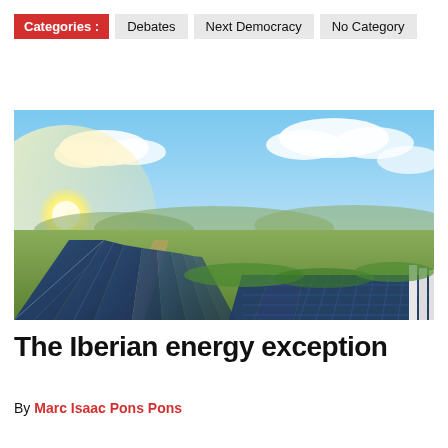Categories : Debates   Next Democracy   No Category
[Figure (photo): Aerial view of a large solar panel farm with bright sunlight, blue sky with clouds, and green vegetation in the background]
The Iberian energy exception
By Marc Isaac Pons Pons